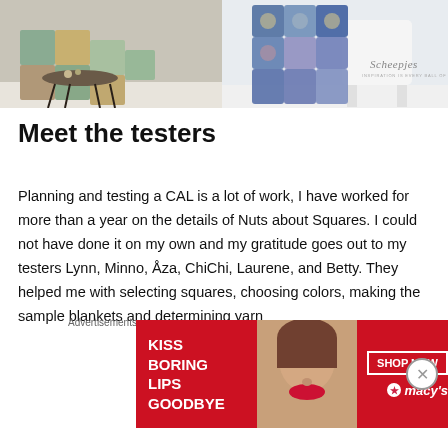[Figure (photo): Two photos side by side showing crochet blankets with granny squares. Left photo: colorful patchwork crochet blanket draped over a round side table with thin black legs on a white floor. Right photo: blue/teal granny square crochet blanket draped over a white chair. Scheepjes brand logo visible on right photo.]
Meet the testers
Planning and testing a CAL is a lot of work, I have worked for more than a year on the details of Nuts about Squares. I could not have done it on my own and my gratitude goes out to my testers Lynn, Minno, Åza, ChiChi, Laurene, and Betty. They helped me with selecting squares, choosing colors, making the sample blankets and determining yarn
[Figure (photo): Advertisement banner: 'KISS BORING LIPS GOODBYE' with a woman's face showing red lips, SHOP NOW button, and Macy's logo with star]